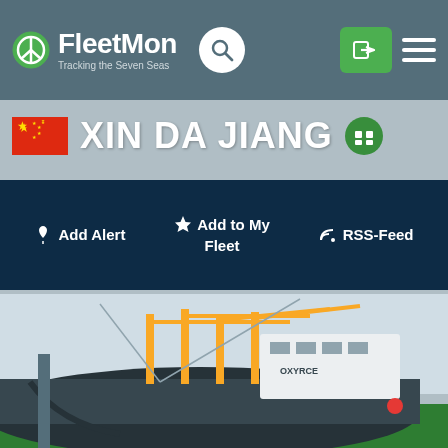FleetMon - Tracking the Seven Seas
XIN DA JIANG
Add Alert | Add to My Fleet | RSS-Feed
[Figure (photo): Cargo ship with yellow cranes docked at port, showing bow and superstructure. Ship appears to be named OXYRCE.]